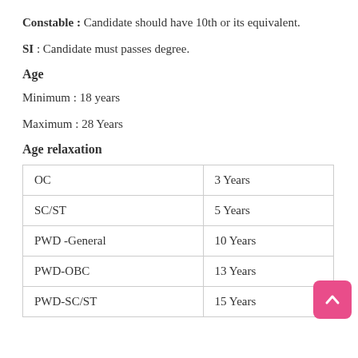Constable : Candidate should have 10th or its equivalent.
SI : Candidate must passes degree.
Age
Minimum : 18 years
Maximum : 28 Years
Age relaxation
| Category | Relaxation |
| --- | --- |
| OC | 3 Years |
| SC/ST | 5 Years |
| PWD -General | 10 Years |
| PWD-OBC | 13 Years |
| PWD-SC/ST | 15 Years |